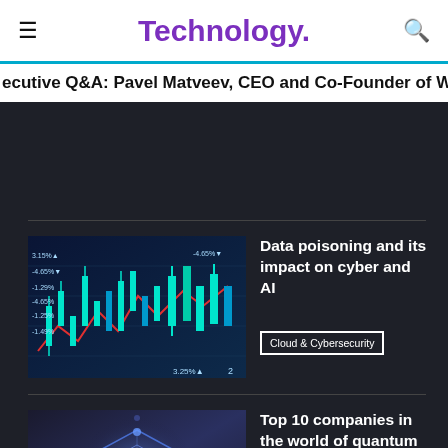Technology.
ecutive Q&A: Pavel Matveev, CEO and Co-Founder of Wire
Data poisoning and its impact on cyber and AI
Cloud & Cybersecurity
[Figure (photo): Financial data chart with candlesticks and red/cyan lines on dark background, showing percentage values like 3.15%, -4.65%, -1.29%, -4.65%, 3.25%]
Top 10 companies in the world of quantum computing
Digital Transformation
[Figure (photo): Quantum computing abstract image with blue glowing cube-like geometric shapes on dark background]